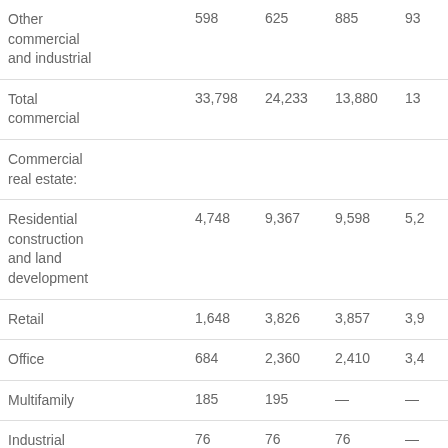|  | Col1 | Col2 | Col3 | Col4 |
| --- | --- | --- | --- | --- |
| Other commercial and industrial | 598 | 625 | 885 | 93… |
| Total commercial | 33,798 | 24,233 | 13,880 | 13… |
| Commercial real estate: |  |  |  |  |
| Residential construction and land development | 4,748 | 9,367 | 9,598 | 5,2… |
| Retail | 1,648 | 3,826 | 3,857 | 3,9… |
| Office | 684 | 2,360 | 2,410 | 3,4… |
| Multifamily | 185 | 195 | — | — |
| Industrial | 76 | 76 | 76 | — |